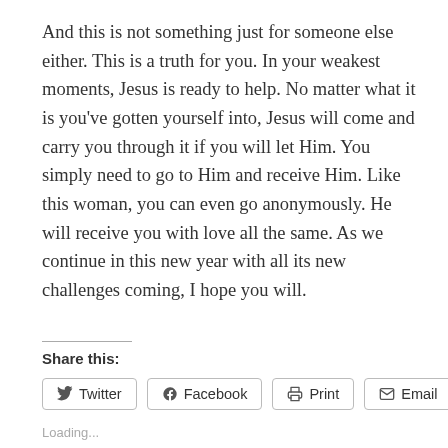And this is not something just for someone else either. This is a truth for you. In your weakest moments, Jesus is ready to help. No matter what it is you've gotten yourself into, Jesus will come and carry you through it if you will let Him. You simply need to go to Him and receive Him. Like this woman, you can even go anonymously. He will receive you with love all the same. As we continue in this new year with all its new challenges coming, I hope you will.
Share this:
Twitter  Facebook  Print  Email
Loading...